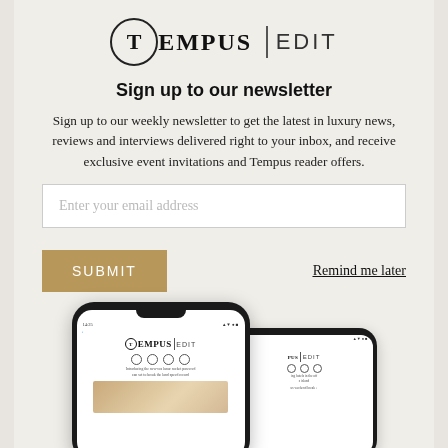[Figure (logo): TEMPUS EDIT logo with T in a circle followed by EMPUS and a vertical divider then EDIT]
Sign up to our newsletter
Sign up to our weekly newsletter to get the latest in luxury news, reviews and interviews delivered right to your inbox, and receive exclusive event invitations and Tempus reader offers.
Enter your email address
SUBMIT
Remind me later
[Figure (screenshot): Two smartphones showing the Tempus Edit newsletter on their screens, with the TEMPUS EDIT logo, social media icons, and article preview content visible]